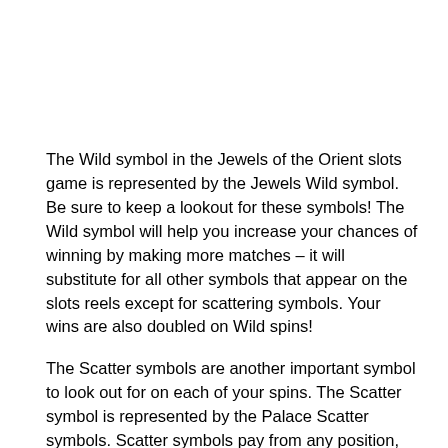The Wild symbol in the Jewels of the Orient slots game is represented by the Jewels Wild symbol. Be sure to keep a lookout for these symbols! The Wild symbol will help you increase your chances of winning by making more matches – it will substitute for all other symbols that appear on the slots reels except for scattering symbols. Your wins are also doubled on Wild spins!
The Scatter symbols are another important symbol to look out for on each of your spins. The Scatter symbol is represented by the Palace Scatter symbols. Scatter symbols pay from any position, and wins are added to pay line wins. Wins are multiplied by the total number of credits staked. Furthermore, three, four or five Scatter symbols appearing on the reels will